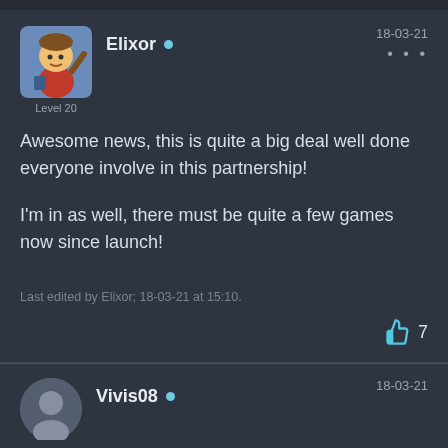Elixor • 18-03-21 Level 20
Awesome news, this is quite a big deal well done everyone involve in this partnership!

I'm in as well, there must be quite a few games now since launch!
Last edited by Elixor; 18-03-21 at 15:10.
👍 7
Vivis08 • 18-03-21